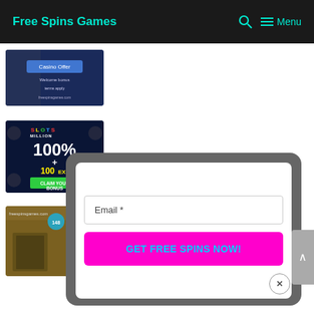Free Spins Games
[Figure (screenshot): Top casino banner image with dark blue background]
[Figure (illustration): Slots Million casino banner: 100% + 100 EXTRA SPINS, CLAIM YOUR BONUS]
[Figure (screenshot): Game banner with golden/medieval theme]
[Figure (screenshot): Email subscription modal popup with 'Email *' field and 'GET FREE SPINS NOW!' button in magenta, with X close button]